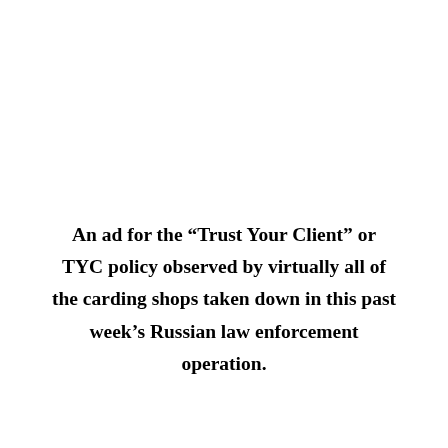An ad for the “Trust Your Client” or TYC policy observed by virtually all of the carding shops taken down in this past week’s Russian law enforcement operation.